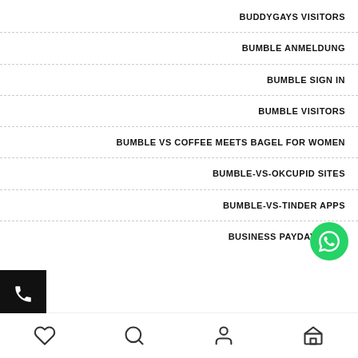BUDDYGAYS VISITORS
BUMBLE ANMELDUNG
BUMBLE SIGN IN
BUMBLE VISITORS
BUMBLE VS COFFEE MEETS BAGEL FOR WOMEN
BUMBLE-VS-OKCUPID SITES
BUMBLE-VS-TINDER APPS
BUSINESS PAYDAY LOAN